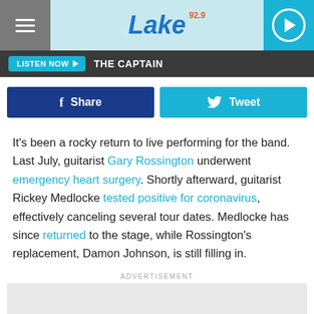[Figure (logo): 92.9 The Lake radio station header with hamburger menu, logo, and play button]
LISTEN NOW ▶  THE CAPTAIN
[Figure (infographic): Share and Tweet social buttons]
It's been a rocky return to live performing for the band. Last July, guitarist Gary Rossington underwent emergency heart surgery. Shortly afterward, guitarist Rickey Medlocke tested positive for coronavirus, effectively canceling several tour dates. Medlocke has since returned to the stage, while Rossington's replacement, Damon Johnson, is still filling in.
ADVERTISEMENT